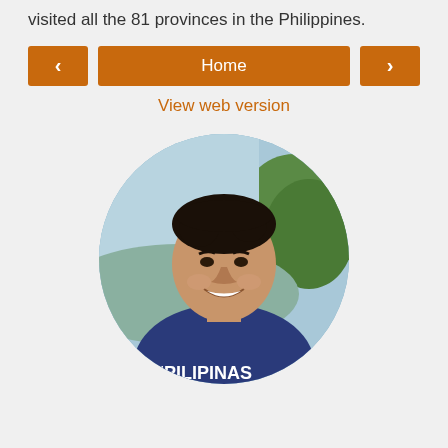visited all the 81 provinces in the Philippines.
[Figure (infographic): Navigation bar with left arrow button, Home center button, and right arrow button, all in orange/brown color]
View web version
[Figure (photo): Circular cropped photo of a smiling man wearing a navy blue t-shirt that reads #PILIPINAS, with a green tree and blue sky background]